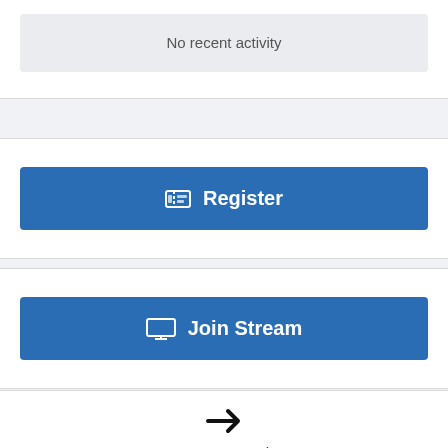No recent activity
Register
Join Stream
I'm Interested